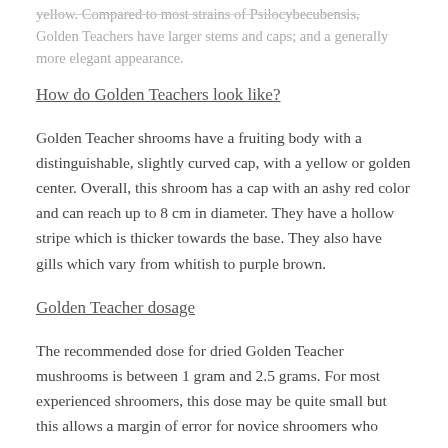yellow. Compared to most strains of Psilocybecubensis, Golden Teachers have larger stems and caps; and a generally more elegant appearance.
How do Golden Teachers look like?
Golden Teacher shrooms have a fruiting body with a distinguishable, slightly curved cap, with a yellow or golden center. Overall, this shroom has a cap with an ashy red color and can reach up to 8 cm in diameter. They have a hollow stripe which is thicker towards the base. They also have gills which vary from whitish to purple brown.
Golden Teacher dosage
The recommended dose for dried Golden Teacher mushrooms is between 1 gram and 2.5 grams. For most experienced shroomers, this dose may be quite small but this allows a margin of error for novice shroomers who never